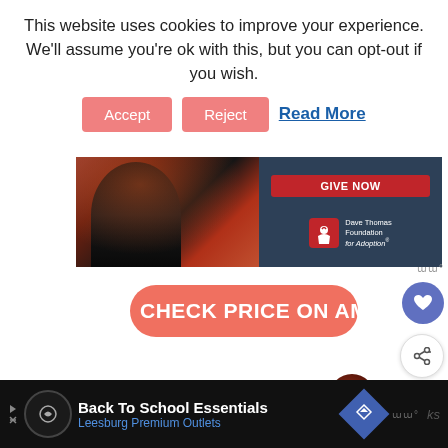This website uses cookies to improve your experience. We'll assume you're ok with this, but you can opt-out if you wish.
Accept | Reject | Read More
[Figure (other): Dave Thomas Foundation for Adoption advertisement banner with photo of smiling person, GIVE NOW button in red, and foundation logo on dark blue background]
[Figure (other): CHECK PRICE ON AMAZON salmon/coral colored rounded button]
[Figure (other): WHAT'S NEXT arrow with circular photo thumbnail and text 'The Best National Par...']
[Figure (other): Back To School Essentials Leesburg Premium Outlets advertisement banner on dark background]